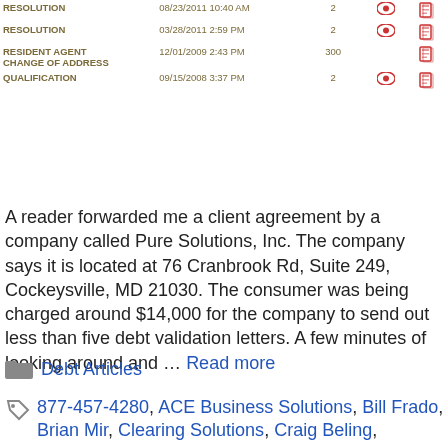| Type | Date | Pages |  |  |
| --- | --- | --- | --- | --- |
| RESOLUTION | 08/23/2011 10:40 AM | 2 | eye | doc |
| RESOLUTION | 03/28/2011 2:59 PM | 2 | eye | doc |
| RESIDENT AGENT CHANGE OF ADDRESS | 12/01/2009 2:43 PM | 300 |  | doc |
| QUALIFICATION | 09/15/2008 3:37 PM | 2 | eye | doc |
A reader forwarded me a client agreement by a company called Pure Solutions, Inc. The company says it is located at 76 Cranbrook Rd, Suite 249, Cockeysville, MD 21030. The consumer was being charged around $14,000 for the company to send out less than five debt validation letters. A few minutes of looking around and … Read more
Debt Articles
877-457-4280, ACE Business Solutions, Bill Frado, Brian Mir, Clearing Solutions, Craig Beling,